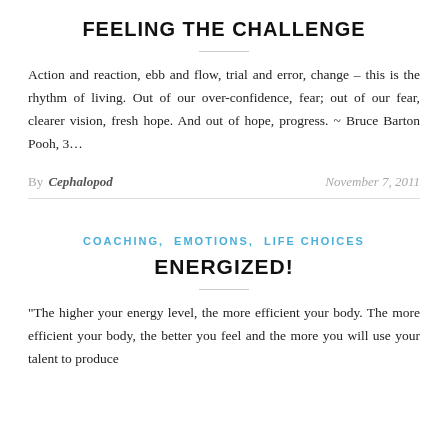FEELING THE CHALLENGE
Action and reaction, ebb and flow, trial and error, change – this is the rhythm of living. Out of our over-confidence, fear; out of our fear, clearer vision, fresh hope. And out of hope, progress. ~ Bruce Barton Pooh, 3...
By Cephalopod   November 7, 2011
COACHING, EMOTIONS, LIFE CHOICES
ENERGIZED!
“The higher your energy level, the more efficient your body. The more efficient your body, the better you feel and the more you will use your talent to produce